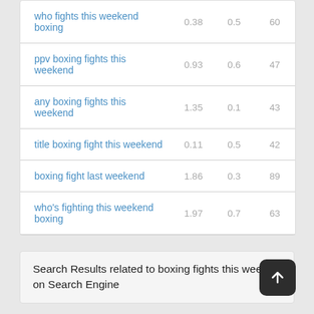| Keyword | Col1 | Col2 | Col3 |
| --- | --- | --- | --- |
| who fights this weekend boxing | 0.38 | 0.5 | 60 |
| ppv boxing fights this weekend | 0.93 | 0.6 | 47 |
| any boxing fights this weekend | 1.35 | 0.1 | 43 |
| title boxing fight this weekend | 0.11 | 0.5 | 42 |
| boxing fight last weekend | 1.86 | 0.3 | 89 |
| who's fighting this weekend boxing | 1.97 | 0.7 | 63 |
Search Results related to boxing fights this week on Search Engine